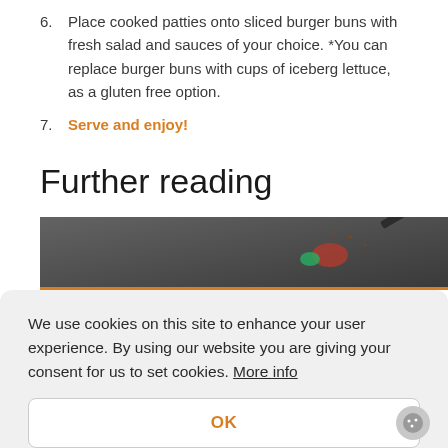6. Place cooked patties onto sliced burger buns with fresh salad and sauces of your choice. *You can replace burger buns with cups of iceberg lettuce, as a gluten free option.
7. Serve and enjoy!
Further reading
[Figure (photo): Dark overhead photo of food being cooked or prepared on a surface, partially visible at the bottom of the further reading section.]
We use cookies on this site to enhance your user experience. By using our website you are giving your consent for us to set cookies. More info
OK